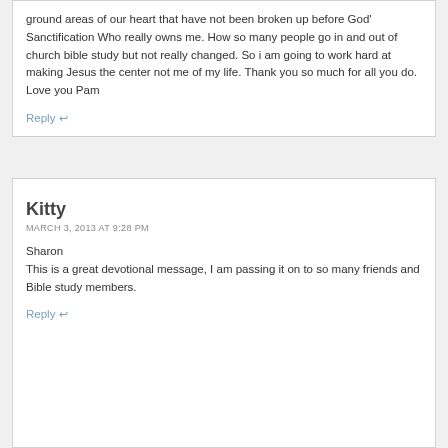ground areas of our heart that have not been broken up before God' Sanctification Who really owns me. How so many people go in and out of church bible study but not really changed. So i am going to work hard at making Jesus the center not me of my life. Thank you so much for all you do. Love you Pam
Reply ↩
Kitty
MARCH 3, 2013 AT 9:28 PM
Sharon
This is a great devotional message, I am passing it on to so many friends and Bible study members.
Reply ↩